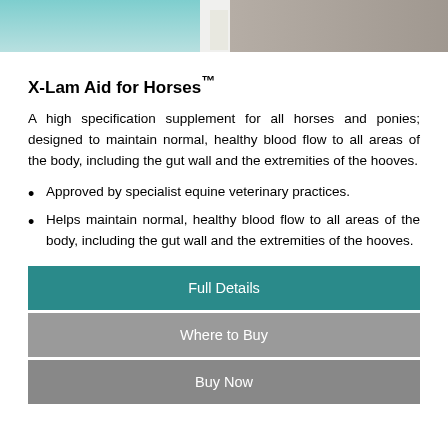[Figure (photo): Partial photo of a horse product image, cropped at top of page]
X-Lam Aid for Horses™
A high specification supplement for all horses and ponies; designed to maintain normal, healthy blood flow to all areas of the body, including the gut wall and the extremities of the hooves.
Approved by specialist equine veterinary practices.
Helps maintain normal, healthy blood flow to all areas of the body, including the gut wall and the extremities of the hooves.
Full Details
Where to Buy
Buy Now